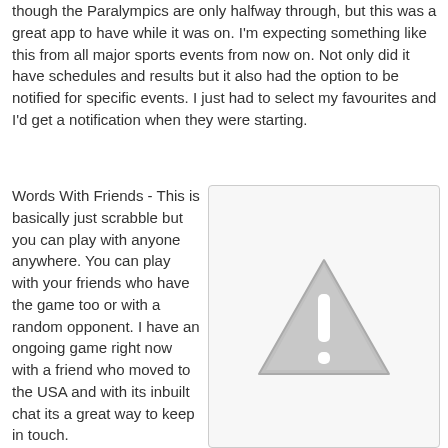though the Paralympics are only halfway through, but this was a great app to have while it was on. I'm expecting something like this from all major sports events from now on. Not only did it have schedules and results but it also had the option to be notified for specific events. I just had to select my favourites and I'd get a notification when they were starting.
Words With Friends - This is basically just scrabble but you can play with anyone anywhere. You can play with your friends who have the game too or with a random opponent. I have an ongoing game right now with a friend who moved to the USA and with its inbuilt chat its a great way to keep in touch.
[Figure (illustration): Warning triangle icon with exclamation mark, grey colored, inside a light grey bordered box]